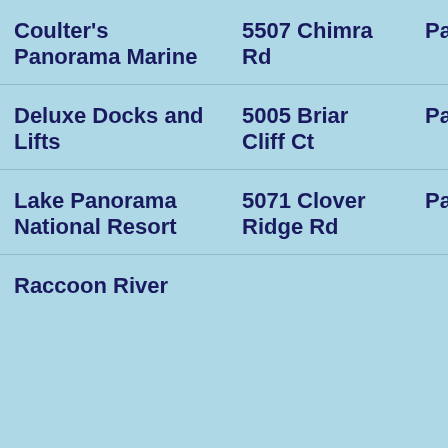| Coulter's Panorama Marine | 5507 Chimra Rd | Panora |
| Deluxe Docks and Lifts | 5005 Briar Cliff Ct | Panora |
| Lake Panorama National Resort | 5071 Clover Ridge Rd | Panora |
| Raccoon River |  |  |